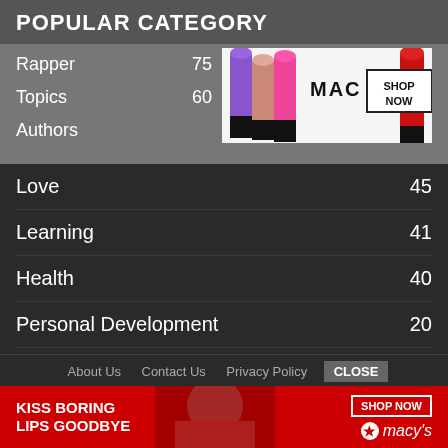POPULAR CATEGORY
Rapper 75
[Figure (photo): MAC cosmetics advertisement showing colorful lipsticks and a SHOP NOW button]
Topics 60
Authors 58
Love 45
Learning 41
Health 40
Personal Development 20
Relationship 18
Dating 17
About Us   Contact Us   Privacy Policy   CLOSE
[Figure (photo): Macy's advertisement: KISS BORING LIPS GOODBYE with SHOP NOW button and Macy's star logo]